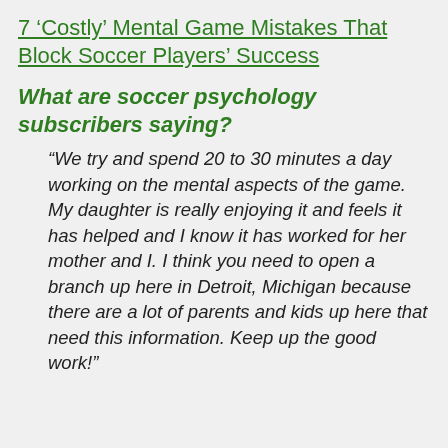7 'Costly' Mental Game Mistakes That Block Soccer Players' Success
What are soccer psychology subscribers saying?
“We try and spend 20 to 30 minutes a day working on the mental aspects of the game. My daughter is really enjoying it and feels it has helped and I know it has worked for her mother and I. I think you need to open a branch up here in Detroit, Michigan because there are a lot of parents and kids up here that need this information. Keep up the good work!”